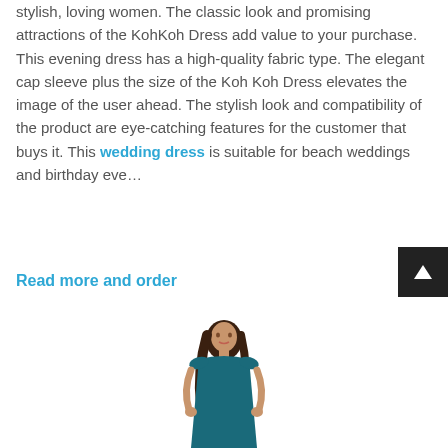stylish, loving women. The classic look and promising attractions of the KohKoh Dress add value to your purchase. This evening dress has a high-quality fabric type. The elegant cap sleeve plus the size of the Koh Koh Dress elevates the image of the user ahead. The stylish look and compatibility of the product are eye-catching features for the customer that buys it. This wedding dress is suitable for beach weddings and birthday eve...
Read more and order
[Figure (photo): A woman wearing a teal/dark blue cap sleeve dress, photographed from the waist up, with long dark wavy hair.]